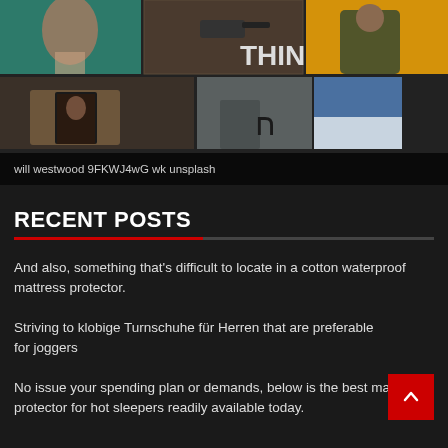[Figure (photo): Photo grid with 5 images: person on teal background, surveillance camera on brick wall, person in green jacket by yellow door, person holding book in sweater, door with Hebrew letter and blue sky]
will westwood 9FKWJ4wG wk unsplash
RECENT POSTS
And also, something that's difficult to locate in a cotton waterproof mattress protector.
Striving to klobige Turnschuhe für Herren that are preferable for joggers
No issue your spending plan or demands, below is the best mattress protector for hot sleepers readily available today.